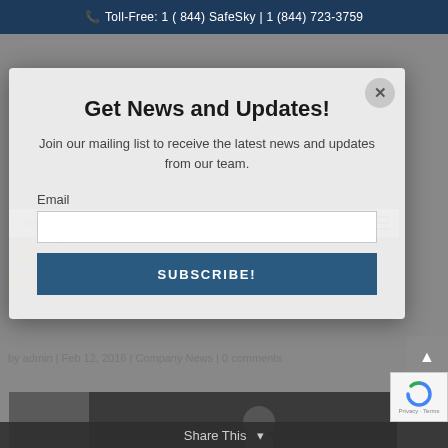Toll-Free: 1 ( 844) SafeSky | 1 (844) 723-3759
Get News and Updates!
Join our mailing list to receive the latest news and updates from our team.
Email
SUBSCRIBE!
NASA Licensing Ceremony Photos and Remarks
by admin | Feb 12, 2016 | Company News | 0 comments
Share This